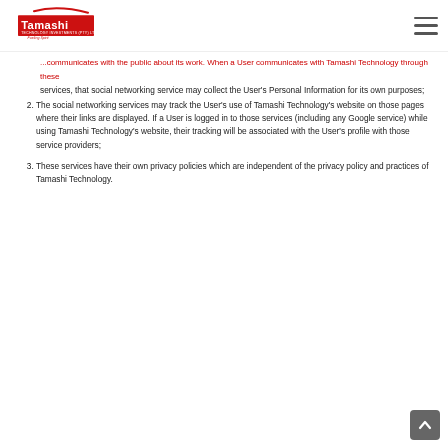Tamashi Technology Investments (Pty) Ltd logo and navigation
services, that social networking service may collect the User's Personal Information for its own purposes;
The social networking services may track the User's use of Tamashi Technology's website on those pages where their links are displayed. If a User is logged in to those services (including any Google service) while using Tamashi Technology's website, their tracking will be associated with the User's profile with those service providers;
These services have their own privacy policies which are independent of the privacy policy and practices of Tamashi Technology.